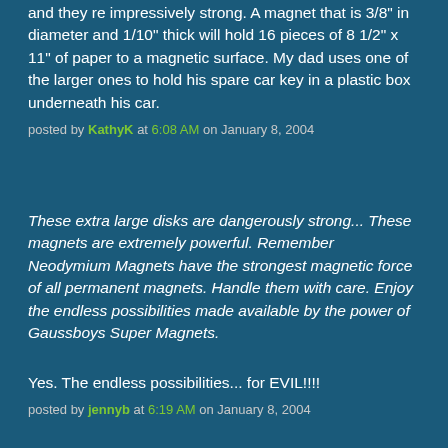and they re impressively strong. A magnet that is 3/8" in diameter and 1/10" thick will hold 16 pieces of 8 1/2" x 11" of paper to a magnetic surface. My dad uses one of the larger ones to hold his spare car key in a plastic box underneath his car.
posted by KathyK at 6:08 AM on January 8, 2004
These extra large disks are dangerously strong... These magnets are extremely powerful. Remember Neodymium Magnets have the strongest magnetic force of all permanent magnets. Handle them with care. Enjoy the endless possibilities made available by the power of Gaussboys Super Magnets.
Yes. The endless possibilities... for EVIL!!!!
posted by jennyb at 6:19 AM on January 8, 2004